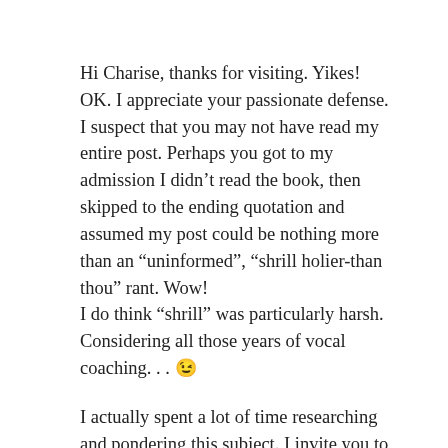Hi Charise, thanks for visiting. Yikes! OK. I appreciate your passionate defense.
I suspect that you may not have read my entire post. Perhaps you got to my admission I didn't read the book, then skipped to the ending quotation and assumed my post could be nothing more than an “uninformed”, “shrill holier-than thou” rant. Wow!
I do think “shrill” was particularly harsh. Considering all those years of vocal coaching. . . 😉
I actually spent a lot of time researching and pondering this subject. I invite you to go back and read